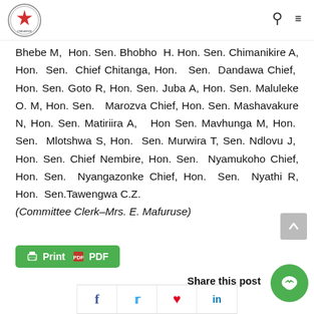Parliament of Zimbabwe
Bhebe M, Hon. Sen. Bhobho H. Hon. Sen. Chimanikire A, Hon. Sen. Chief Chitanga, Hon. Sen. Dandawa Chief, Hon. Sen. Goto R, Hon. Sen. Juba A, Hon. Sen. Maluleke O. M, Hon. Sen. Marozva Chief, Hon. Sen. Mashavakure N, Hon. Sen. Matiriira A, Hon Sen. Mavhunga M, Hon. Sen. Mlotshwa S, Hon. Sen. Murwira T, Sen. Ndlovu J, Hon. Sen. Chief Nembire, Hon. Sen. Nyamukoho Chief, Hon. Sen. Nyangazonke Chief, Hon. Sen. Nyathi R, Hon. Sen.Tawengwa C.Z. (Committee Clerk–Mrs. E. Mafuruse)